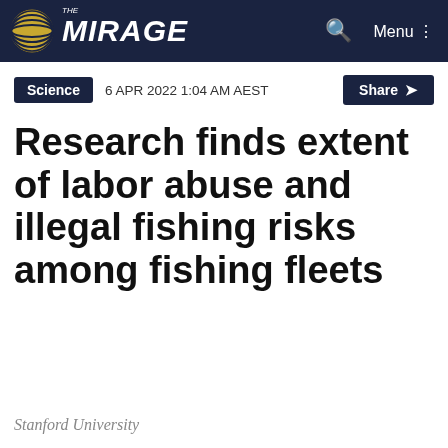THE MIRAGE
Science   6 APR 2022 1:04 AM AEST   Share
Research finds extent of labor abuse and illegal fishing risks among fishing fleets
Stanford University